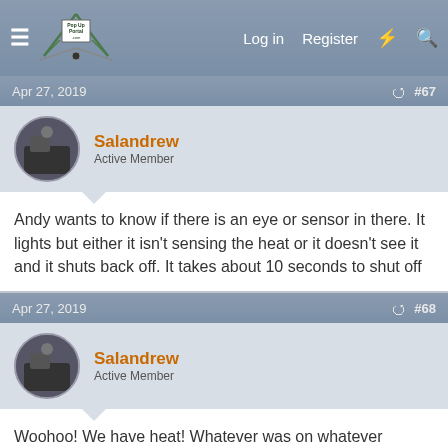PopUpPortal.com — Log in  Register
Apr 27, 2019  #67
Salandrew
Active Member
Andy wants to know if there is an eye or sensor in there. It lights but either it isn't sensing the heat or it doesn't see it and it shuts back off. It takes about 10 seconds to shut off
Apr 27, 2019  #68
Salandrew
Active Member
Woohoo! We have heat! Whatever was on whatever burned off. Apparently having an outdoor shower above the furnace is a good idea 🙂. Now to figure out how to fix it so it won't happen